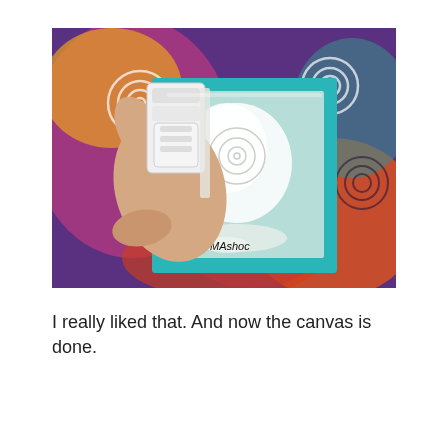[Figure (photo): A hand holding a white squeegee/brayer tool pressing white gesso or paste onto a clear plastic bag placed on a teal/turquoise-framed surface. The background is a colorful mixed-media canvas with swirl patterns in blue, purple, orange, and yellow. The plastic bag has 'Good Master' written in black marker at the bottom. White circular swirl texture is visible through the bag.]
I really liked that. And now the canvas is done.